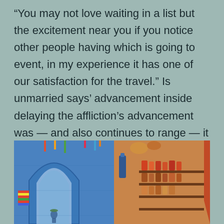“You may not love waiting in a list but the excitement near you if you notice other people having which is going to event, in my experience it has one of our satisfaction for the travel.” Is unmarried says’ advancement inside delaying the affliction’s advancement was — and also continues to range — it appears very nearly positive that it’ll always be taking brand spanking new and differing instructions.
[Figure (photo): Photo of a blue-walled Moroccan street scene (likely Chefchaouen) with an arched passageway, colorful hanging items, a market shop with shelves of goods on the right, and a person walking through the arch.]